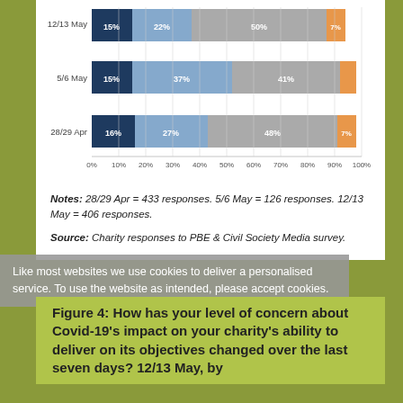[Figure (stacked-bar-chart): How has your level of concern about Covid-19's impact changed over time]
Notes: 28/29 Apr = 433 responses. 5/6 May = 126 responses. 12/13 May = 406 responses.
Source: Charity responses to PBE & Civil Society Media survey.
Like most websites we use cookies to deliver a personalised service. To use the website as intended, please accept cookies.
Figure 4: How has your level of concern about Covid-19’s impact on your charity’s ability to deliver on its objectives changed over the last seven days? 12/13 May, by